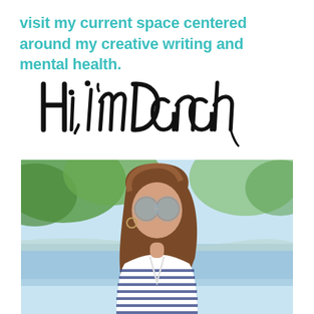visit my current space centered around my creative writing and mental health.
[Figure (illustration): Handwritten script text reading 'Hi, I'm Danah' in large black brush lettering]
[Figure (photo): Photo of a young woman with long brown hair, wearing round mirror sunglasses and a blue and white striped top, looking downward, with a blurred outdoor background featuring green trees and water]